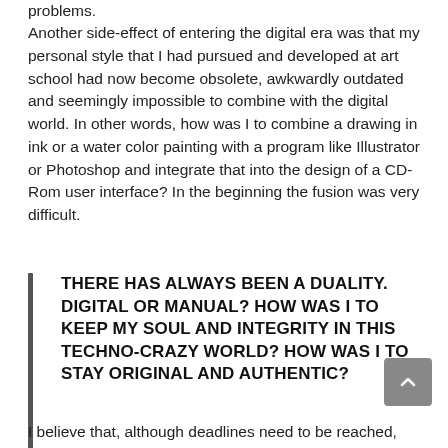problems.
Another side-effect of entering the digital era was that my personal style that I had pursued and developed at art school had now become obsolete, awkwardly outdated and seemingly impossible to combine with the digital world. In other words, how was I to combine a drawing in ink or a water color painting with a program like Illustrator or Photoshop and integrate that into the design of a CD-Rom user interface? In the beginning the fusion was very difficult.
THERE HAS ALWAYS BEEN A DUALITY. DIGITAL OR MANUAL? HOW WAS I TO KEEP MY SOUL AND INTEGRITY IN THIS TECHNO-CRAZY WORLD? HOW WAS I TO STAY ORIGINAL AND AUTHENTIC?
I believe that, although deadlines need to be reached,